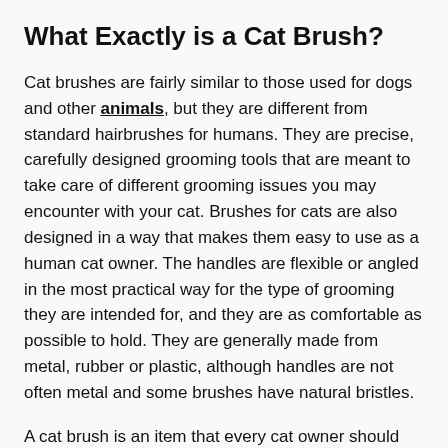What Exactly is a Cat Brush?
Cat brushes are fairly similar to those used for dogs and other animals, but they are different from standard hairbrushes for humans. They are precise, carefully designed grooming tools that are meant to take care of different grooming issues you may encounter with your cat. Brushes for cats are also designed in a way that makes them easy to use as a human cat owner. The handles are flexible or angled in the most practical way for the type of grooming they are intended for, and they are as comfortable as possible to hold. They are generally made from metal, rubber or plastic, although handles are not often metal and some brushes have natural bristles.
A cat brush is an item that every cat owner should have in their collection of pet care supplies. Many cats, especially those who enjoy pets and other physical affection from humans, like to be brushed. Regardless